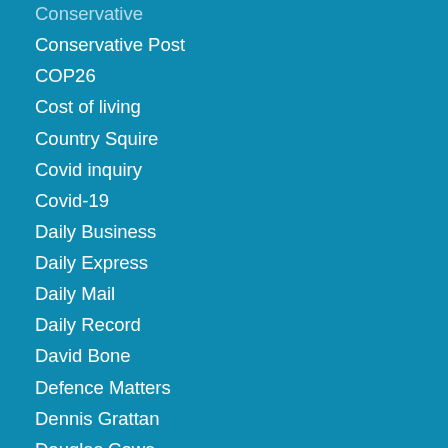Conservative
Conservative Post
COP26
Cost of living
Country Squire
Covid inquiry
Covid-19
Daily Business
Daily Express
Daily Mail
Daily Record
David Bone
Defence Matters
Dennis Grattan
Douglas Cowe
Drugs
Economic Matters